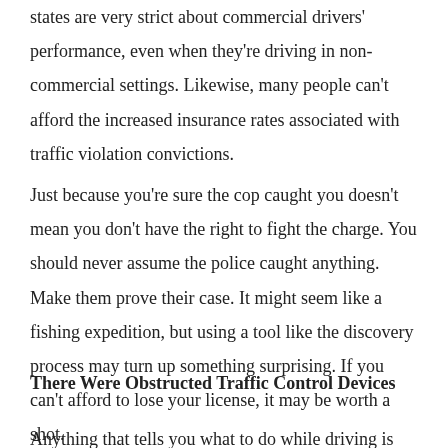states are very strict about commercial drivers' performance, even when they're driving in non-commercial settings. Likewise, many people can't afford the increased insurance rates associated with traffic violation convictions.
Just because you're sure the cop caught you doesn't mean you don't have the right to fight the charge. You should never assume the police caught anything. Make them prove their case. It might seem like a fishing expedition, but using a tool like the discovery process may turn up something surprising. If you can't afford to lose your license, it may be worth a shot.
There Were Obstructed Traffic Control Devices
Anything that tells you what to do while driving is